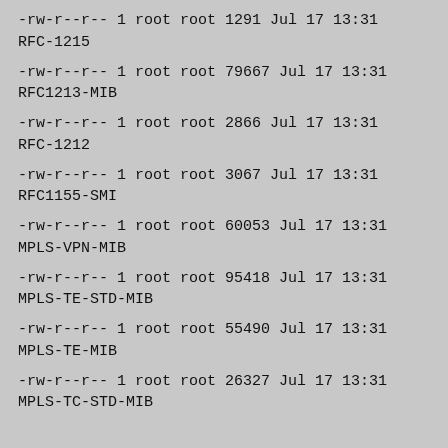-rw-r--r-- 1 root root    1291 Jul 17 13:31 RFC-1215
-rw-r--r-- 1 root root   79667 Jul 17 13:31 RFC1213-MIB
-rw-r--r-- 1 root root    2866 Jul 17 13:31 RFC-1212
-rw-r--r-- 1 root root    3067 Jul 17 13:31 RFC1155-SMI
-rw-r--r-- 1 root root   60053 Jul 17 13:31 MPLS-VPN-MIB
-rw-r--r-- 1 root root   95418 Jul 17 13:31 MPLS-TE-STD-MIB
-rw-r--r-- 1 root root   55490 Jul 17 13:31 MPLS-TE-MIB
-rw-r--r-- 1 root root   26327 Jul 17 13:31 MPLS-TC-STD-MIB